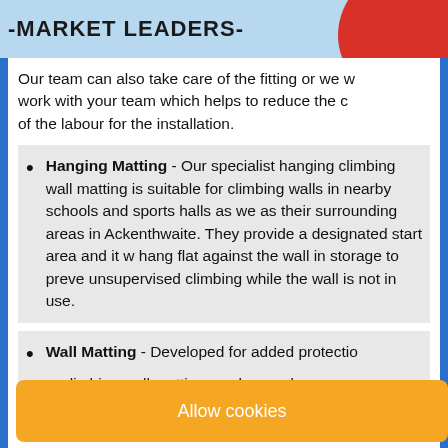[Figure (other): Banner with text -MARKET LEADERS- on light blue background with red circle element top right]
Our team can also take care of the fitting or we w... work with your team which helps to reduce the c... of the labour for the installation.
Hanging Matting - Our specialist hanging climbing wall matting is suitable for climbing walls in nearby schools and sports halls as we... as their surrounding areas in Ackenthwaite. They provide a designated start area and it w... hang flat against the wall in storage to preve... unsupervised climbing while the wall is not in use.
Wall Matting - Developed for added protectio... climbing wall matting can be used as a...
[Figure (other): Cookie consent banner with orange/yellow background and text Allow cookies]